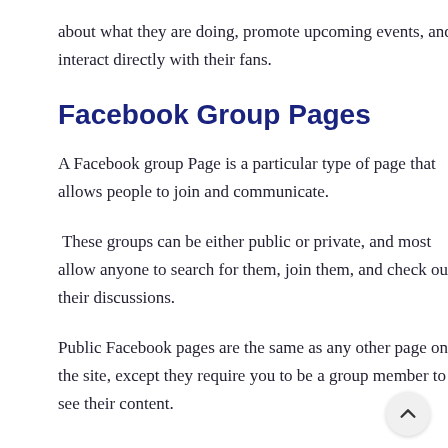about what they are doing, promote upcoming events, and interact directly with their fans.
Facebook Group Pages
A Facebook group Page is a particular type of page that allows people to join and communicate.
These groups can be either public or private, and most allow anyone to search for them, join them, and check out their discussions.
Public Facebook pages are the same as any other page on the site, except they require you to be a group member to see their content.